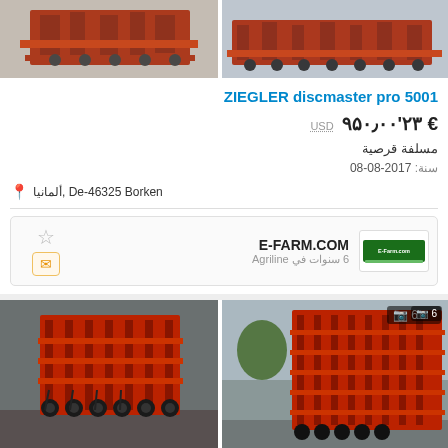[Figure (photo): Red agricultural disc harrow machinery photographed indoors, left image]
[Figure (photo): Red agricultural disc harrow machinery photographed indoors, right image]
ZIEGLER discmaster pro 5001
USD € ۲۳'۹۵۰٫۰۰
مسلفة قرصية
سنة: 2017-08-08
📍 ألمانيا، De-46325 Borken
E-FARM.COM
6 سنوات في Agriline
[Figure (photo): Close-up of red agricultural cultivator/tiller machinery with black disc components on gravel ground]
[Figure (photo): Red agricultural harrow/cultivator machinery outdoors with camera icon and number 6 badge]